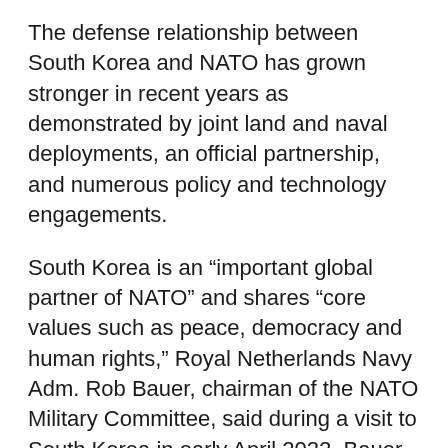The defense relationship between South Korea and NATO has grown stronger in recent years as demonstrated by joint land and naval deployments, an official partnership, and numerous policy and technology engagements.
South Korea is an “important global partner of NATO” and shares “core values such as peace, democracy and human rights,” Royal Netherlands Navy Adm. Rob Bauer, chairman of the NATO Military Committee, said during a visit to South Korea in early April 2022. Bauer met with South Korean Defense Minister Suh Wook and Gen. Won In-choul, chairman of the Republic of Korea (ROK) Joint Chiefs of Staff, according to a South Korean Ministry of National Defense news release. (Pictured: South Korean Defense Minister Suh Wook, left, meets with Adm. Rob Bauer, chairman of the NATO Military Committee, in Seoul in April 2022.)
Bauer, who was visiting South Korea to strengthen military